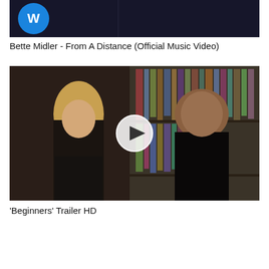[Figure (screenshot): Thumbnail of Bette Midler music video with Warner Music logo (blue circle with W) on dark background]
Bette Midler - From A Distance (Official Music Video)
[Figure (screenshot): Thumbnail of Beginners movie trailer HD showing a blonde woman and a dark-haired man in a library/bookshelf setting, with a play button overlay in the center]
'Beginners' Trailer HD